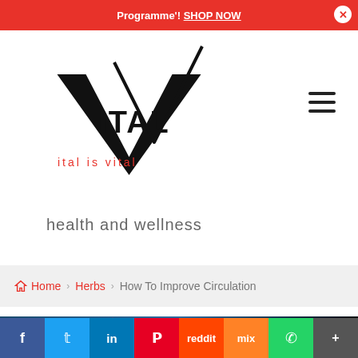Programme'! SHOP NOW
[Figure (logo): VITAL logo with stylized V checkmark and tagline 'ital is vital' in red]
health and wellness
Home > Herbs > How To Improve Circulation
[Figure (photo): Medical illustration of human heart and circulatory system with blue and red vessels]
f  t  in  p  reddit  mix  whatsapp  More